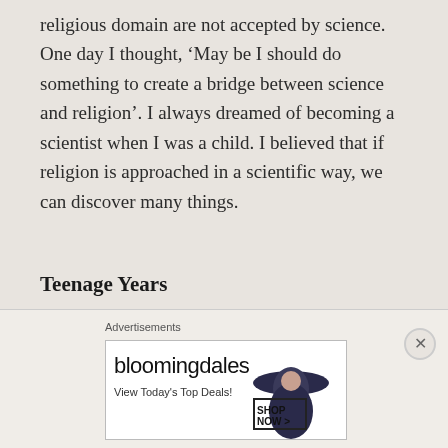religious domain are not accepted by science. One day I thought, ‘May be I should do something to create a bridge between science and religion’. I always dreamed of becoming a scientist when I was a child. I believed that if religion is approached in a scientific way, we can discover many things.
Teenage Years
During my teenage years, I developed depression and inferiority complex. I had trouble in forming friendships and I saw myself
Advertisements
[Figure (other): Bloomingdale's advertisement banner with woman in large hat. Text reads: bloomingdales, View Today's Top Deals!, SHOP NOW >]